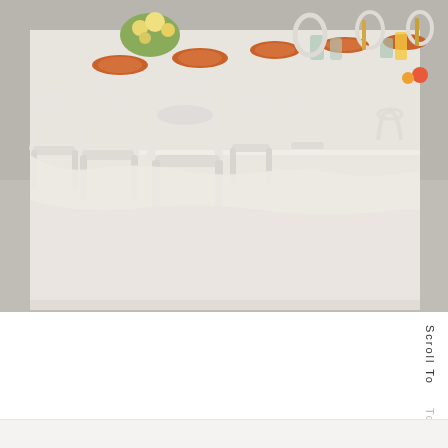[Figure (photo): Wedding reception table setting with white bentwood chairs along a long table covered with a white lace tablecloth. The table is set with terracotta/orange plates, flowers, and various glassware. The setting appears to be in an indoor venue with concrete floors.]
Scroll To
Top